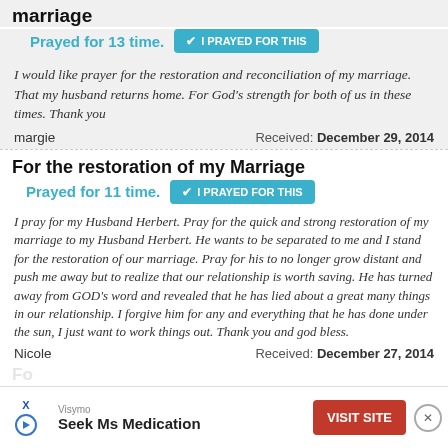marriage
Prayed for 13 time.
I PRAYED FOR THIS
I would like prayer for the restoration and reconciliation of my marriage. That my husband returns home. For God's strength for both of us in these times. Thank you
margie   Received: December 29, 2014
For the restoration of my Marriage
Prayed for 11 time.
I PRAYED FOR THIS
I pray for my Husband Herbert. Pray for the quick and strong restoration of my marriage to my Husband Herbert. He wants to be separated to me and I stand for the restoration of our marriage. Pray for his to no longer grow distant and push me away but to realize that our relationship is worth saving. He has turned away from GOD's word and revealed that he has lied about a great many things in our relationship. I forgive him for any and everything that he has done under the sun, I just want to work things out. Thank you and god bless.
Nicole   Received: December 27, 2014
Visymo  Seek Ms Medication  VISIT SITE